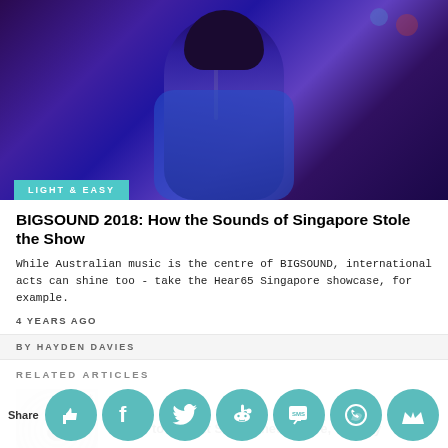[Figure (photo): Concert photo of a musician singing into a microphone on stage with purple/blue stage lighting, wearing a blue jacket]
LIGHT & EASY
BIGSOUND 2018: How the Sounds of Singapore Stole the Show
While Australian music is the centre of BIGSOUND, international acts can shine too - take the Hear65 Singapore showcase, for example.
4 YEARS AGO
BY HAYDEN DAVIES
RELATED ARTICLES
[Figure (photo): Thumbnail image with spiral/hypnotic black and white pattern with a skull figure in the center]
Listen to Violent Soho's new single, Viceroy